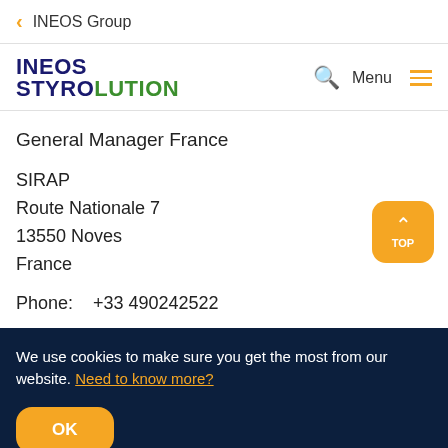< INEOS Group
[Figure (logo): INEOS Styrolution logo with search icon, Menu and hamburger icon]
General Manager France
SIRAP
Route Nationale 7
13550 Noves
France
Phone:  +33 490242522
We use cookies to make sure you get the most from our website. Need to know more?
OK